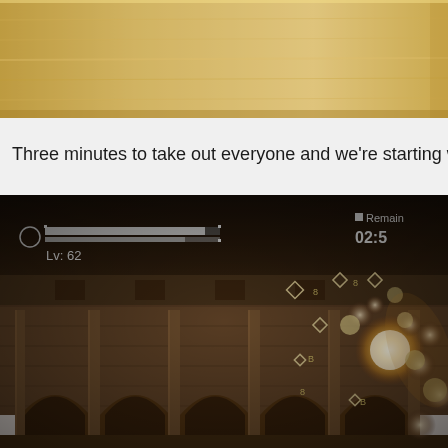[Figure (screenshot): Top portion of a game screenshot showing a warm golden/sepia-toned background, appears to be a partial view of an ornate architectural interior.]
Three minutes to take out everyone and we're starting with the most
[Figure (screenshot): Game screenshot showing a dark medieval colosseum interior with stone arches and columns. HUD shows character level Lv: 62 with a health/progress bar on the left, and a timer showing 02:5x with 'Remain' text on the upper right. Bright glowing orbs or projectiles are visible on the right side of the screen.]